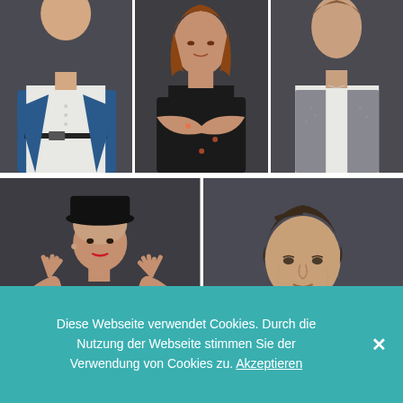[Figure (photo): Grid of five professional portrait photographs of people against dark backgrounds. Top row: man in blue jacket and white shirt; woman in black sleeveless top with arms crossed; man in grey vest and white shirt. Bottom row: woman with black hat and dramatic pose with raised hands; man in navy shirt looking forward.]
Diese Webseite verwendet Cookies. Durch die Nutzung der Webseite stimmen Sie der Verwendung von Cookies zu. Akzeptieren